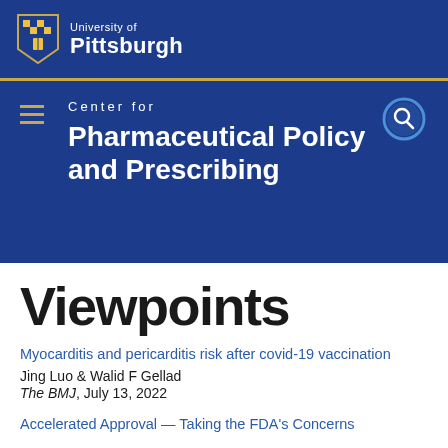[Figure (logo): University of Pittsburgh shield logo with text 'University of Pittsburgh' in white on navy blue background]
Center for Pharmaceutical Policy and Prescribing
Viewpoints
Myocarditis and pericarditis risk after covid-19 vaccination
Jing Luo & Walid F Gellad
The BMJ, July 13, 2022
Accelerated Approval — Taking the FDA's Concerns